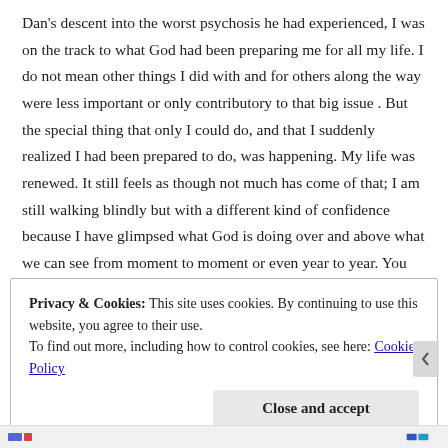Dan's descent into the worst psychosis he had experienced, I was on the track to what God had been preparing me for all my life. I do not mean other things I did with and for others along the way were less important or only contributory to that big issue . But the special thing that only I could do, and that I suddenly realized I had been prepared to do, was happening. My life was renewed. It still feels as though not much has come of that; I am still walking blindly but with a different kind of confidence because I have glimpsed what God is doing over and above what we can see from moment to moment or even year to year. You were created for fulfillment in God's great plan for Creation. As Jesus promised, as long as you are seeking, you will find. I will email you a poem about the pain of waiting for fulfillment.
Privacy & Cookies: This site uses cookies. By continuing to use this website, you agree to their use.
To find out more, including how to control cookies, see here: Cookie Policy